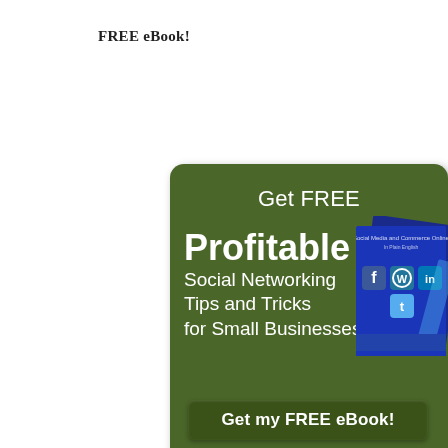FREE eBook!
[Figure (illustration): Green rounded-rectangle advertisement box for a free eBook about Profitable Social Networking Tips and Tricks for Small Businesses, featuring a book cover with social media icons (Facebook, WordPress, LinkedIn, Twitter), a 'Get my FREE eBook!' button, and 'Completely Spamless - Guaranteed' footer text.]